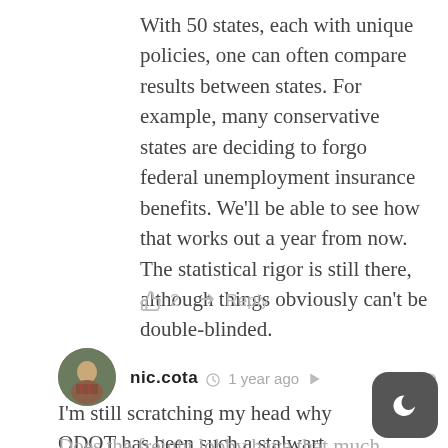With 50 states, each with unique policies, one can often compare results between states. For example, many conservative states are deciding to forgo federal unemployment insurance benefits. We'll be able to see how that works out a year from now. The statistical rigor is still there, although things obviously can't be double-blinded.
👍 2  ➤ Reply
[Figure (photo): Circular user avatar photo of nic.cota, showing a person in a plaid shirt outdoors]
nic.cota  🕐 1 year ago  ⊲  🔗
I'm still scratching my head why ODOT has been such a stalwart opponent to the buildable caps or lessening the width through all this…
Does the freight lobby have that much